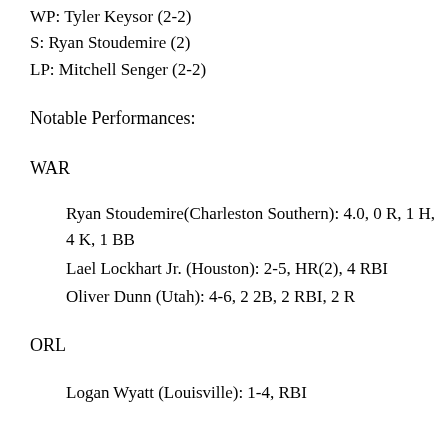WP: Tyler Keysor (2-2)
S: Ryan Stoudemire (2)
LP: Mitchell Senger (2-2)
Notable Performances:
WAR
Ryan Stoudemire(Charleston Southern): 4.0, 0 R, 1 H, 4 K, 1 BB
Lael Lockhart Jr. (Houston): 2-5, HR(2), 4 RBI
Oliver Dunn (Utah): 4-6, 2 2B, 2 RBI, 2 R
ORL
Logan Wyatt (Louisville): 1-4, RBI